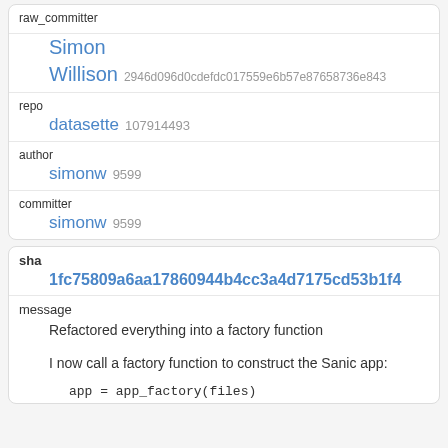| raw_committer |  |
|  | Simon |
|  | Willison 2946d096d0cdefdc017559e6b57e87658736e843 |
| repo |  |
|  | datasette 107914493 |
| author |  |
|  | simonw 9599 |
| committer |  |
|  | simonw 9599 |
| sha |  |
|  | 1fc75809a6aa17860944b4cc3a4d7175cd53b1f4 |
| message |  |
|  | Refactored everything into a factory function |
|  | I now call a factory function to construct the Sanic app: |
|  | app = app_factory(files) |